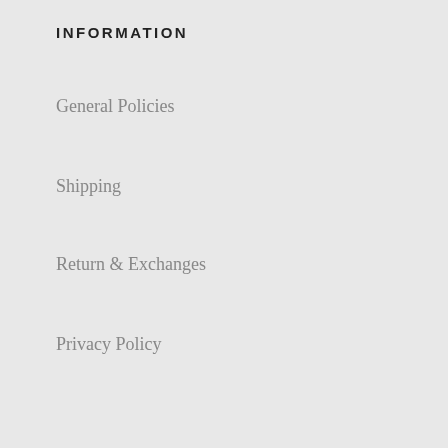INFORMATION
General Policies
Shipping
Return & Exchanges
Privacy Policy
About Us
[Figure (illustration): Three social media icons: Facebook (circle with f), Instagram (camera icon in rounded square), Twitter (bird icon)]
WE'VE GOT YOUR BACK
[Figure (infographic): Three partially visible mint-green circles at bottom with text, showing promotional badges]